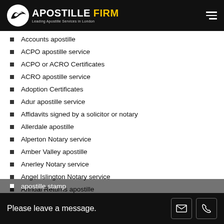APOSTILLE FIRM — Leading Apostille Services in London
Accounts apostille
ACPO apostille service
ACPO or ACRO Certificates
ACRO apostille service
Adoption Certificates
Adur apostille service
Affidavits signed by a solicitor or notary
Allerdale apostille
Alperton Notary service
Amber Valley apostille
Anerley Notary service
Angel Islington Notary service
Annual Returns apostille
apostille stamp
Please leave a message.